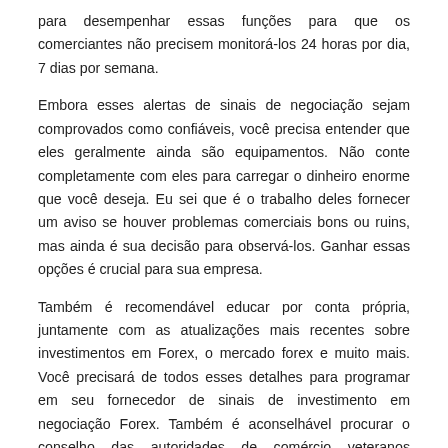para desempenhar essas funções para que os comerciantes não precisem monitorá-los 24 horas por dia, 7 dias por semana.
Embora esses alertas de sinais de negociação sejam comprovados como confiáveis, você precisa entender que eles geralmente ainda são equipamentos. Não conte completamente com eles para carregar o dinheiro enorme que você deseja. Eu sei que é o trabalho deles fornecer um aviso se houver problemas comerciais bons ou ruins, mas ainda é sua decisão para observá-los. Ganhar essas opções é crucial para sua empresa.
Também é recomendável educar por conta própria, juntamente com as atualizações mais recentes sobre investimentos em Forex, o mercado forex e muito mais. Você precisará de todos esses detalhes para programar em seu fornecedor de sinais de investimento em negociação Forex. Também é aconselhável procurar o conselho das autoridades de comércio veteranos corretores de câmbio.